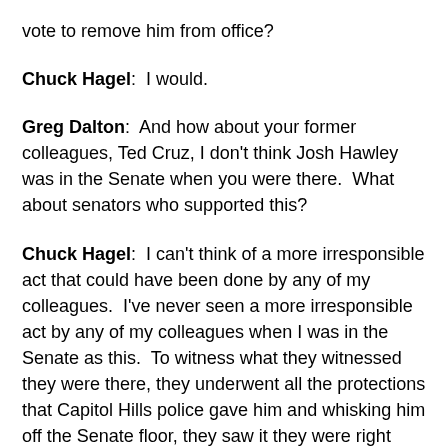vote to remove him from office?
Chuck Hagel:  I would.
Greg Dalton:  And how about your former colleagues, Ted Cruz, I don't think Josh Hawley was in the Senate when you were there.  What about senators who supported this?
Chuck Hagel:  I can't think of a more irresponsible act that could have been done by any of my colleagues.  I've never seen a more irresponsible act by any of my colleagues when I was in the Senate as this.  To witness what they witnessed they were there, they underwent all the protections that Capitol Hills police gave him and whisking him off the Senate floor, they saw it they were right there.  But still carry forward their preposterous notions and what the president has talked about since the election actually before the election that the election was fraudulent and was stolen when there is no evidence whatsoever. 60 lawsuits were thrown out by courts at